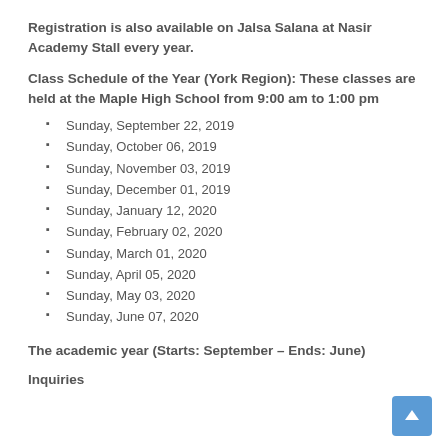Registration is also available on Jalsa Salana at Nasir Academy Stall every year.
Class Schedule of the Year (York Region): These classes are held at the Maple High School from 9:00 am to 1:00 pm
Sunday, September 22, 2019
Sunday, October 06, 2019
Sunday, November 03, 2019
Sunday, December 01, 2019
Sunday, January 12, 2020
Sunday, February 02, 2020
Sunday, March 01, 2020
Sunday, April 05, 2020
Sunday, May 03, 2020
Sunday, June 07, 2020
The academic year (Starts: September – Ends: June)
Inquiries